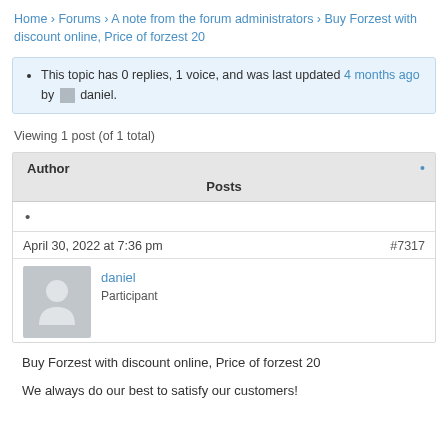Home › Forums › A note from the forum administrators › Buy Forzest with discount online, Price of forzest 20
This topic has 0 replies, 1 voice, and was last updated 4 months ago by daniel.
Viewing 1 post (of 1 total)
| Author | Posts |
| --- | --- |
| • |  |
| April 30, 2022 at 7:36 pm | #7317 |
| daniel Participant | Buy Forzest with discount online, Price of forzest 20

We always do our best to satisfy our customers! |
Buy Forzest with discount online, Price of forzest 20
We always do our best to satisfy our customers!